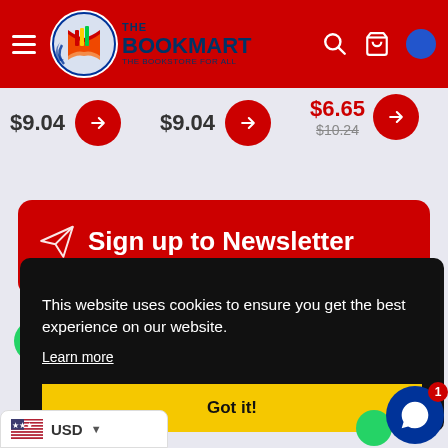[Figure (screenshot): The Bookmart website header with red background, logo, hamburger menu, search and cart icons]
$9.04
$9.04
$6.65 $10.24
Sign up to Newsletter
This website uses cookies to ensure you get the best experience on our website.
Learn more
Got it!
USD